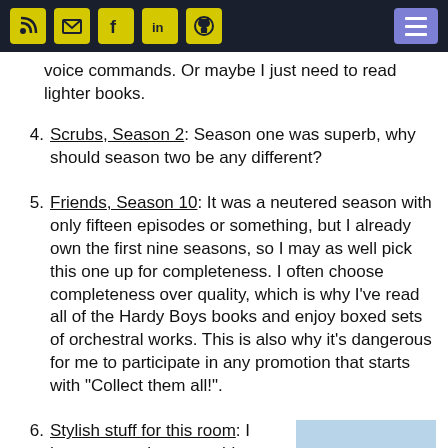Navigation header with social icons and menu button
voice commands. Or maybe I just need to read lighter books.
4. Scrubs, Season 2: Season one was superb, why should season two be any different?
5. Friends, Season 10: It was a neutered season with only fifteen episodes or something, but I already own the first nine seasons, so I may as well pick this one up for completeness. I often choose completeness over quality, which is why I've read all of the Hardy Boys books and enjoy boxed sets of orchestral works. This is also why it's dangerous for me to participate in any promotion that starts with "Collect them all!".
6. Stylish stuff for this room: I have not yet hung anything on the walls of the blue guest room, even though